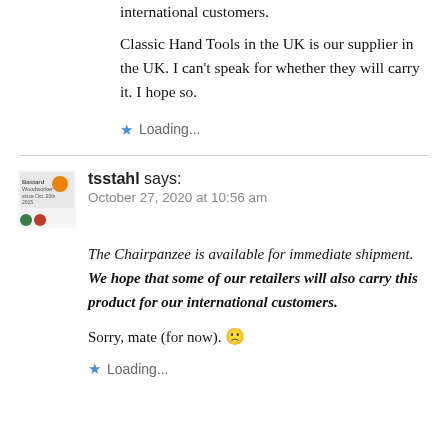international customers. Classic Hand Tools in the UK is our supplier in the UK. I can't speak for whether they will carry it. I hope so.
Loading...
tsstahl says: October 27, 2020 at 10:56 am
The Chairpanzee is available for immediate shipment. We hope that some of our retailers will also carry this product for our international customers. Sorry, mate (for now). 🙁
Loading...